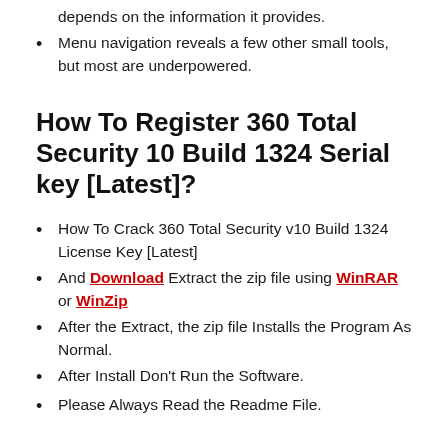depends on the information it provides.
Menu navigation reveals a few other small tools, but most are underpowered.
How To Register 360 Total Security 10 Build 1324 Serial key [Latest]?
How To Crack 360 Total Security v10 Build 1324 License Key [Latest]
And Download Extract the zip file using WinRAR or WinZip
After the Extract, the zip file Installs the Program As Normal.
After Install Don’t Run the Software.
Please Always Read the Readme File.